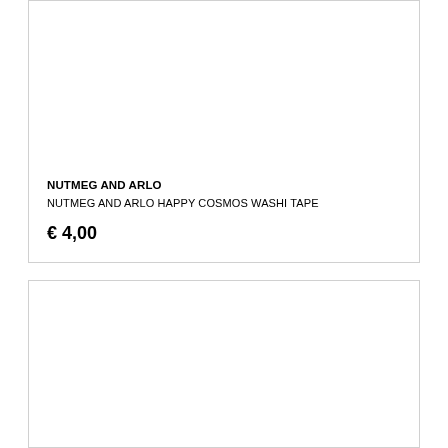NUTMEG AND ARLO
NUTMEG AND ARLO HAPPY COSMOS WASHI TAPE
€ 4,00